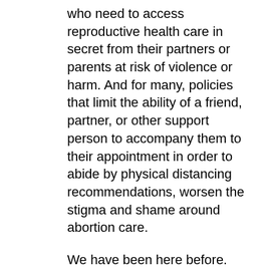who need to access reproductive health care in secret from their partners or parents at risk of violence or harm. And for many, policies that limit the ability of a friend, partner, or other support person to accompany them to their appointment in order to abide by physical distancing recommendations, worsen the stigma and shame around abortion care.
We have been here before. Those with means and resources will be able to access care. Those without resources will not.
When evaluating strategies for improving or maintaining access to care, it's crucial to recognize the ways that structural and systemic barriers create stratified systems of care and result in disparate health